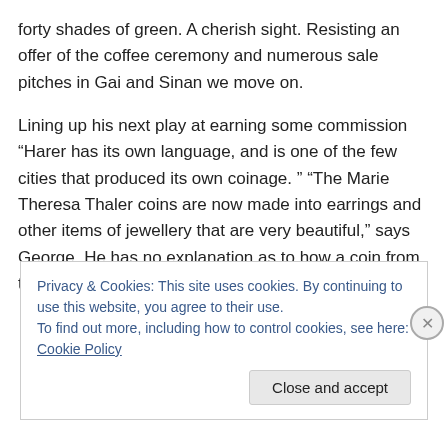forty shades of green. A cherish sight. Resisting an offer of the coffee ceremony and numerous sale pitches in Gai and Sinan we move on.
Lining up his next play at earning some commission “Harer has its own language, and is one of the few cities that produced its own coinage. ” “The Marie Theresa Thaler coins are now made into earrings and other items of jewellery that are very beautiful,” says George. He has no explanation as to how a coin from the Austria Empire ended up as currency in Harar.
Privacy & Cookies: This site uses cookies. By continuing to use this website, you agree to their use.
To find out more, including how to control cookies, see here: Cookie Policy
Close and accept